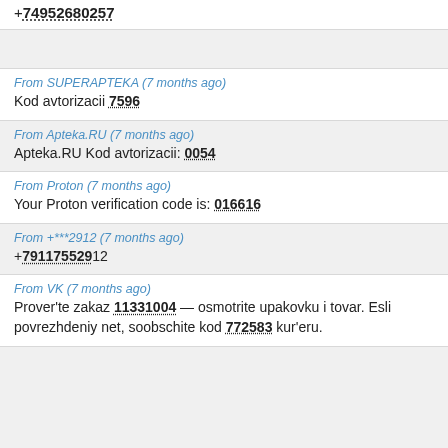+74952680257
From SUPERAPTEKA (7 months ago)
Kod avtorizacii 7596
From Apteka.RU (7 months ago)
Apteka.RU Kod avtorizacii: 0054
From Proton (7 months ago)
Your Proton verification code is: 016616
From +***2912 (7 months ago)
+79117552912
From VK (7 months ago)
Prover'te zakaz 11331004 — osmotrite upakovku i tovar. Esli povrezhdeniy net, soobschite kod 772583 kur'eru.